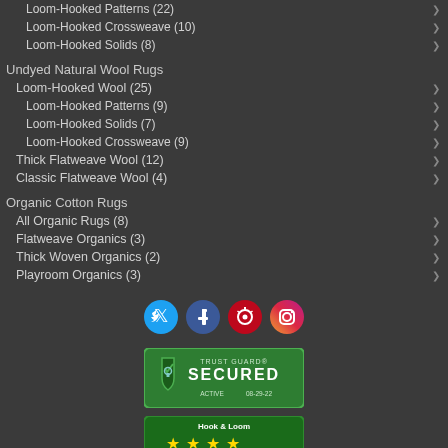Loom-Hooked Patterns (22)
Loom-Hooked Crossweave (10)
Loom-Hooked Solids (8)
Undyed Natural Wool Rugs
Loom-Hooked Wool (25)
Loom-Hooked Patterns (9)
Loom-Hooked Solids (7)
Loom-Hooked Crossweave (9)
Thick Flatweave Wool (12)
Classic Flatweave Wool (4)
Organic Cotton Rugs
All Organic Rugs (8)
Flatweave Organics (3)
Thick Woven Organics (2)
Playroom Organics (3)
[Figure (infographic): Social media icons: Twitter (blue), Facebook (blue), Pinterest (red), Instagram (gradient pink/purple)]
[Figure (infographic): Trust Guard Secured badge - green background with shield icon, text: TRUST GUARD SECURED ACTIVE 08-29-22]
[Figure (infographic): Hook & Loom shopper approved badge - green background with 4 gold stars, count 14242, SHOPPER APPROVED logo]